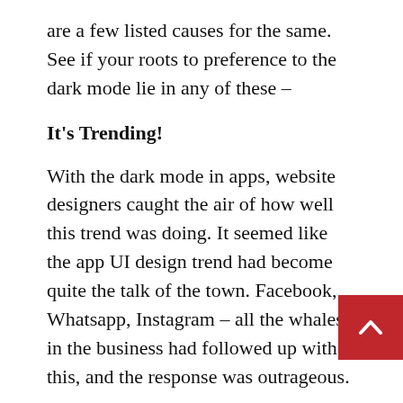are a few listed causes for the same. See if your roots to preference to the dark mode lie in any of these –
It's Trending!
With the dark mode in apps, website designers caught the air of how well this trend was doing. It seemed like the app UI design trend had become quite the talk of the town. Facebook, Whatsapp, Instagram – all the whales in the business had followed up with this, and the response was outrageous.
Hence, the idea started being applied in the website world, and as expected, it was an instant hit. It seems like websites with dark modes are getting more popular than with the ones without it. So why shouldn't your site?